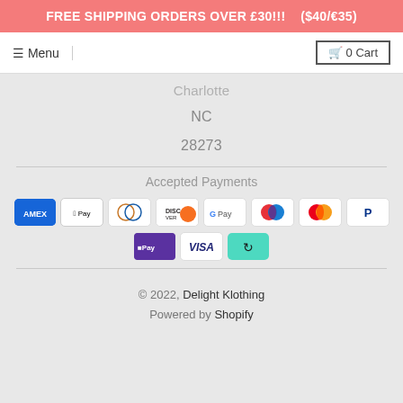FREE SHIPPING ORDERS OVER £30!!!    ($40/€35)
≡ Menu  |  🛒 0 Cart
Charlotte
NC
28273
Accepted Payments
[Figure (infographic): Payment method icons: American Express, Apple Pay, Diners Club, Discover, Google Pay, Maestro, Mastercard, PayPal, Shop Pay, Visa, and a recycling/exchange icon on teal background]
© 2022, Delight Klothing
Powered by Shopify